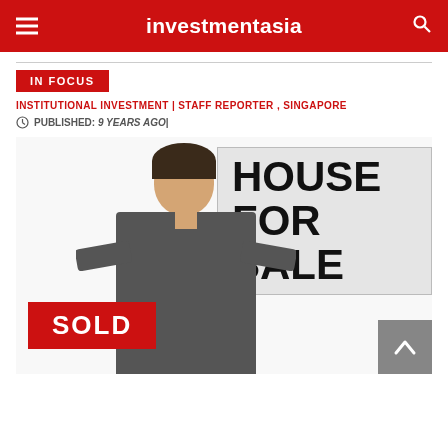investmentasia
IN FOCUS
INSTITUTIONAL INVESTMENT | STAFF REPORTER , SINGAPORE
PUBLISHED: 9 YEARS AGO|
[Figure (photo): A young man in a suit holding a 'HOUSE FOR SALE' sign with a red 'SOLD' sign in front, on a white background]